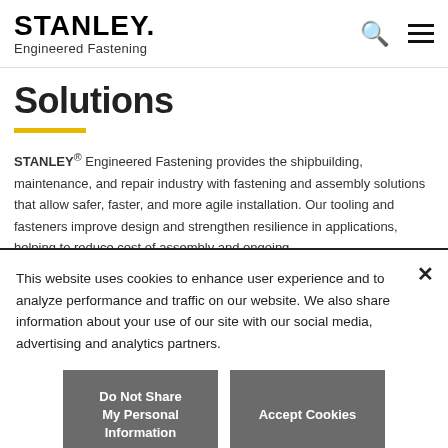STANLEY. Engineered Fastening
Solutions
STANLEY® Engineered Fastening provides the shipbuilding, maintenance, and repair industry with fastening and assembly solutions that allow safer, faster, and more agile installation. Our tooling and fasteners improve design and strengthen resilience in applications, helping to reduce cost of assembly and ongoing
This website uses cookies to enhance user experience and to analyze performance and traffic on our website. We also share information about your use of our site with our social media, advertising and analytics partners.
Do Not Share My Personal Information
Accept Cookies